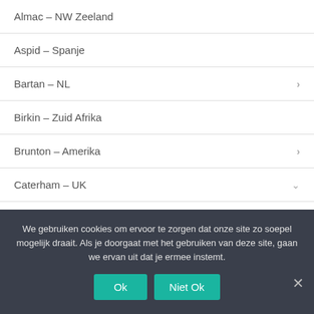Almac – NW Zeeland
Aspid – Spanje
Bartan – NL
Birkin – Zuid Afrika
Brunton – Amerika
Caterham – UK
Over de Caterham
Caterham Serie III
Caterham 1700 SuperSprint
We gebruiken cookies om ervoor te zorgen dat onze site zo soepel mogelijk draait. Als je doorgaat met het gebruiken van deze site, gaan we ervan uit dat je ermee instemt.